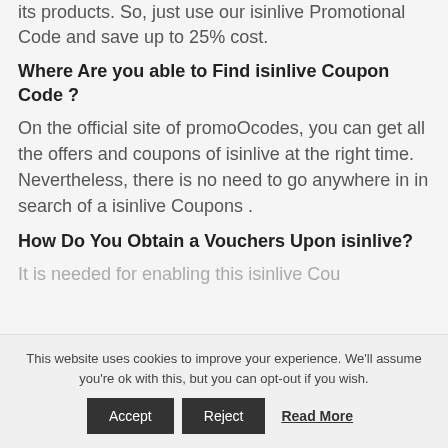its products. So, just use our isinlive Promotional Code and save up to 25% cost.
Where Are you able to Find isinlive Coupon Code ?
On the official site of promoOcodes, you can get all the offers and coupons of isinlive at the right time. Nevertheless, there is no need to go anywhere in in search of a isinlive Coupons .
How Do You Obtain a Vouchers Upon isinlive?
It is needed for enabling this isinlive Cou...
This website uses cookies to improve your experience. We'll assume you're ok with this, but you can opt-out if you wish.